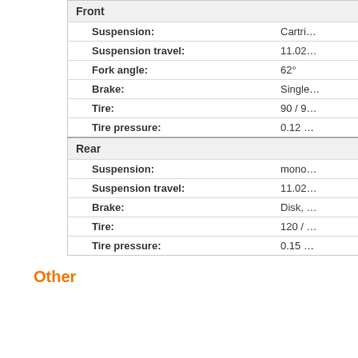| Specification | Value |
| --- | --- |
| Front |  |
| Suspension: | Cartri… |
| Suspension travel: | 11.02… |
| Fork angle: | 62° |
| Brake: | Single… |
| Tire: | 90 / 9… |
| Tire pressure: | 0.12 … |
| Rear |  |
| Suspension: | mono… |
| Suspension travel: | 11.02… |
| Brake: | Disk, … |
| Tire: | 120 / … |
| Tire pressure: | 0.15 … |
Other
| Specification | Value |
| --- | --- |
| ABS available: | No |
| Power-to-weight ratio: | 0.21 … |
| Acceleration (0-60 mph): | 5.8 se… |
| Top speed: | 102.5… |
| Fuel capacity: | 3.3 ga… |
| Number of riders: | 2 per… |